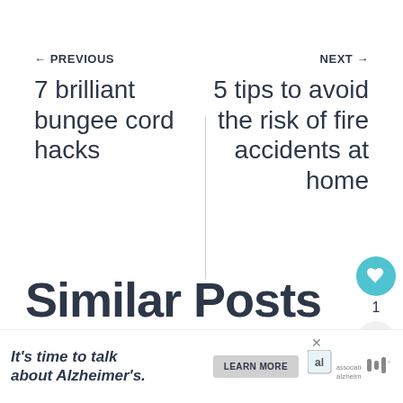← PREVIOUS
7 brilliant bungee cord hacks
NEXT →
5 tips to avoid the risk of fire accidents at home
1
WHAT'S NEXT → Staying in and staying sane...
Similar Posts
It's time to talk about Alzheimer's.
LEARN MORE